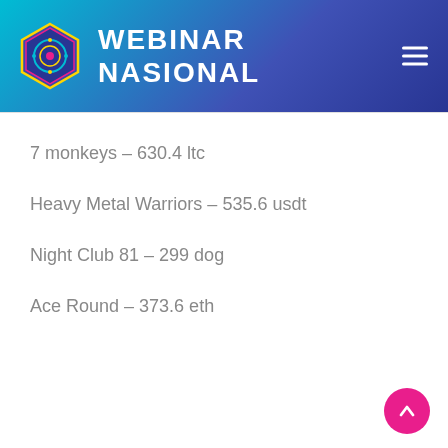WEBINAR NASIONAL
7 monkeys – 630.4 ltc
Heavy Metal Warriors – 535.6 usdt
Night Club 81 – 299 dog
Ace Round – 373.6 eth